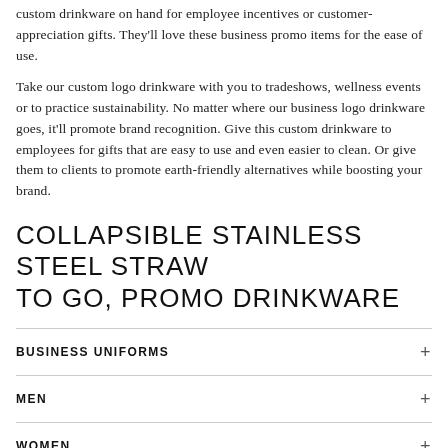custom drinkware on hand for employee incentives or customer-appreciation gifts. They'll love these business promo items for the ease of use.
Take our custom logo drinkware with you to tradeshows, wellness events or to practice sustainability. No matter where our business logo drinkware goes, it'll promote brand recognition. Give this custom drinkware to employees for gifts that are easy to use and even easier to clean. Or give them to clients to promote earth-friendly alternatives while boosting your brand.
COLLAPSIBLE STAINLESS STEEL STRAW TO GO, PROMO DRINKWARE
BUSINESS UNIFORMS
MEN
WOMEN